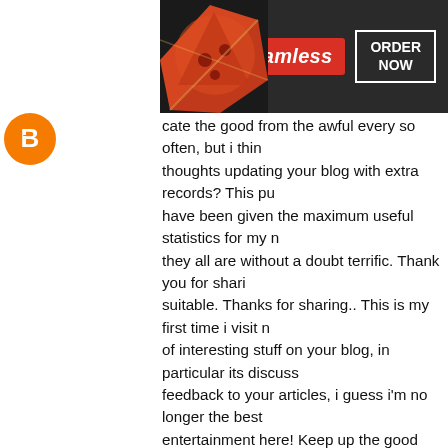[Figure (screenshot): Seamless food delivery advertisement banner with pizza image, Seamless red logo, and ORDER NOW button on dark background]
[Figure (logo): Blogger orange B logo icon]
cate the good from the awful every so often, but i think thoughts updating your blog with extra records? This pu have been given the maximum useful statistics for my n they all are without a doubt terrific. Thank you for shari suitable. Thanks for sharing.. This is my first time i visit n of interesting stuff on your blog, in particular its discuss feedback to your articles, i guess i'm no longer the best entertainment here! Keep up the good work. I have bee down something like this on my website and you've giv article if u searching out actual-time amusing remarkab dubai and top notch tour packages at an less steeply-p company. That is a incredible article thanks for sharing I'm able to go to your blog frequently for some cutting your blog regularly for a few cutting-edge put up. Brillia reading your articles. That is surely a exceptional exam bookmarked it and i am searching ahead to reading new art work! Thanks for the treasured f [SCROLL TO TOP] yo here.. 🔷🔷🔷🔷🔷🔷